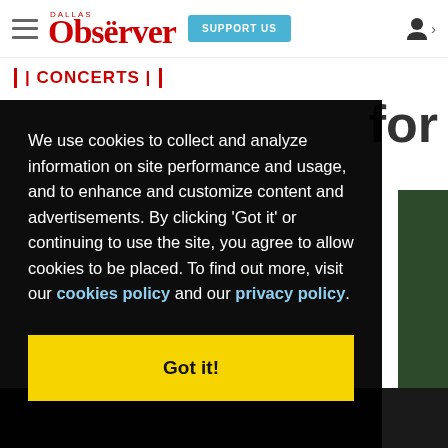Dallas Observer — SUPPORT US — user icon
| CONCERTS |
We use cookies to collect and analyze information on site performance and usage, and to enhance and customize content and advertisements. By clicking 'Got it' or continuing to use the site, you agree to allow cookies to be placed. To find out more, visit our cookies policy and our privacy policy.
Got it!